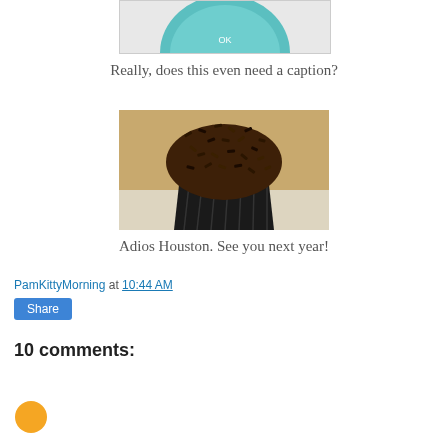[Figure (photo): Top portion of a circular teal/turquoise badge or logo on a light background, cropped at top of page]
Really, does this even need a caption?
[Figure (photo): A chocolate cupcake with chocolate sprinkles on top, in a dark/black cupcake wrapper, on a light surface]
Adios Houston. See you next year!
PamKittyMorning at 10:44 AM
Share
10 comments: